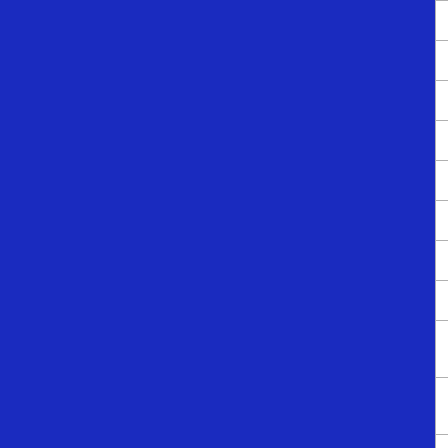| Product Name | Quantity |
| --- | --- |
| MTG Neon Dynasty Commander 4ct Display Box | 4 de... |
| MTG Neon Dynasty Draft Booster Box | 36 pk... |
| MTG Pioneer Challenger Deck 8ct Display Box | 8 dec... |
| MTG Planechase - Night of the Ninja Set Box | 1 set... |
| MTG Planechase - Primordial Hunger Set Box | 1 set... |
| MTG Planechase - Savage Auras Set Box | 1 set... |
| MTG Ravnica Allegiance Deck Builders Toolkit | 285 c... |
| MTG Return to Ravnica Booster Box | 36 pk... |
| MTG Spanish Knights Vs Dragons Duel Deck | See Prod... Detai... |
| MTG Streets of New Capenna Bundle Pack | 8 pks... more... |
| MTG Streets of New Capenna Collector Booster Box | 12 pk... |